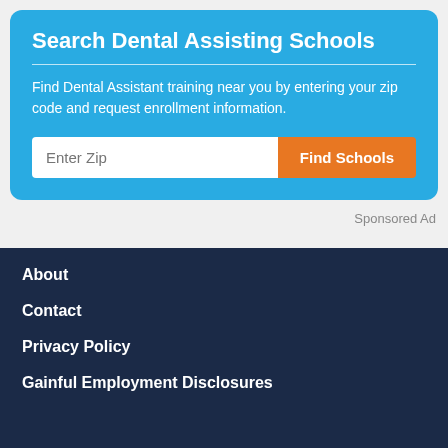Search Dental Assisting Schools
Find Dental Assistant training near you by entering your zip code and request enrollment information.
Sponsored Ad
About
Contact
Privacy Policy
Gainful Employment Disclosures